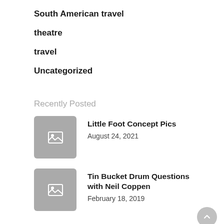South American travel
theatre
travel
Uncategorized
Recently Posted
[Figure (photo): Placeholder image thumbnail for Little Foot Concept Pics]
Little Foot Concept Pics
August 24, 2021
[Figure (photo): Placeholder image thumbnail for Tin Bucket Drum Questions with Neil Coppen]
Tin Bucket Drum Questions with Neil Coppen
February 18, 2019